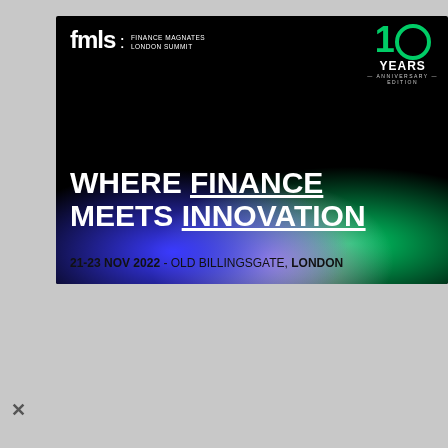[Figure (infographic): Finance Magnates London Summit (FMLS) event banner. Black background with blue, purple, and green gradient at bottom. Top left: 'fmls: FINANCE MAGNATES LONDON SUMMIT' logo in white. Top right: '10 YEARS ANNIVERSARY EDITION' badge in green and white. Center: 'WHERE FINANCE MEETS INNOVATION' in large bold white text with underlines on FINANCE and INNOVATION. Bottom: '21-23 NOV 2022 - OLD BILLINGSGATE, LONDON' in bold black text on light background.]
[Figure (screenshot): Dark gray panel with TDH circular logo (white circle outline on black, serif TDH text inside) centered at top. White progress bar below. Small gray badge with '0' at right.]
[Figure (infographic): Advertisement strip with white background. Left: small logo and 'The perfect gift' in blue. Center: navigation arrows and bowl/food image. Right: gold/orange section reading '35% OFF + FREE SHIPPING'.]